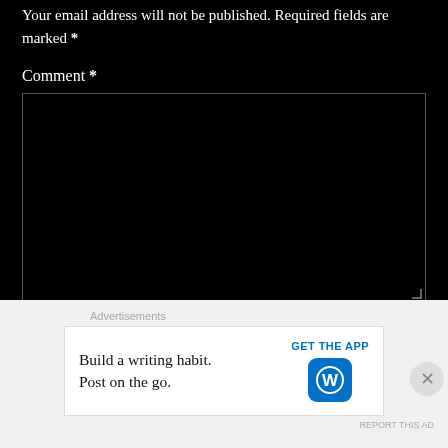Your email address will not be published. Required fields are marked *
Comment *
[Figure (screenshot): Large black textarea input box for comment submission]
Name *
[Figure (screenshot): Text input box for name field]
Advertisements
Build a writing habit. Post on the go.
GET THE APP
[Figure (logo): WordPress logo icon in blue rounded square]